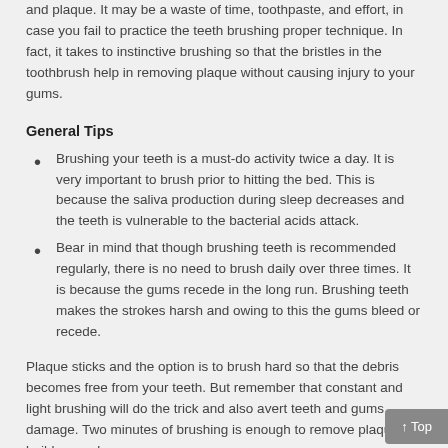and plaque. It may be a waste of time, toothpaste, and effort, in case you fail to practice the teeth brushing proper technique. In fact, it takes to instinctive brushing so that the bristles in the toothbrush help in removing plaque without causing injury to your gums.
General Tips
Brushing your teeth is a must-do activity twice a day. It is very important to brush prior to hitting the bed. This is because the saliva production during sleep decreases and the teeth is vulnerable to the bacterial acids attack.
Bear in mind that though brushing teeth is recommended regularly, there is no need to brush daily over three times. It is because the gums recede in the long run. Brushing teeth makes the strokes harsh and owing to this the gums bleed or recede.
Plaque sticks and the option is to brush hard so that the debris becomes free from your teeth. But remember that constant and light brushing will do the trick and also avert teeth and gums damage. Two minutes of brushing is enough to remove plaque build-up and